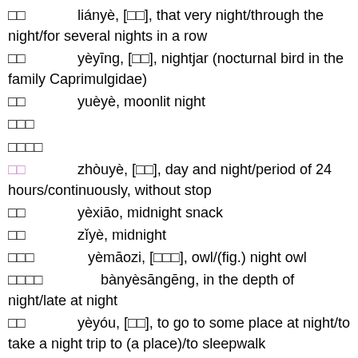□□  liányè, [□□], that very night/through the night/for several nights in a row
□□  yèyīng, [□□], nightjar (nocturnal bird in the family Caprimulgidae)
□□  yuèyè, moonlit night
□□□
□□□□
□□  zhòuyè, [□□], day and night/period of 24 hours/continuously, without stop
□□  yèxiāo, midnight snack
□□  zǐyè, midnight
□□□  yèmāozi, [□□□], owl/(fig.) night owl
□□□□  bànyèsāngēng, in the depth of night/late at night
□□  yèyóu, [□□], to go to some place at night/to take a night trip to (a place)/to sleepwalk
□□  qéyè, overnight/of the previous day